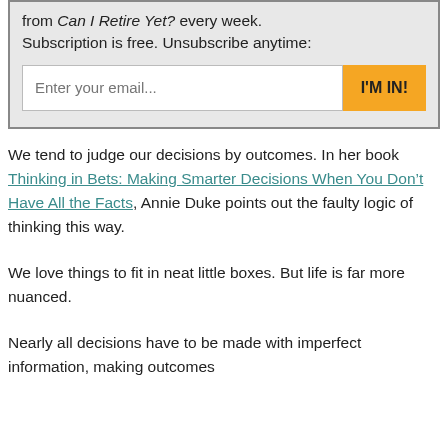from Can I Retire Yet? every week. Subscription is free. Unsubscribe anytime: [email input] I'M IN!
We tend to judge our decisions by outcomes. In her book Thinking in Bets: Making Smarter Decisions When You Don’t Have All the Facts, Annie Duke points out the faulty logic of thinking this way.
We love things to fit in neat little boxes. But life is far more nuanced.
Nearly all decisions have to be made with imperfect information, making outcomes